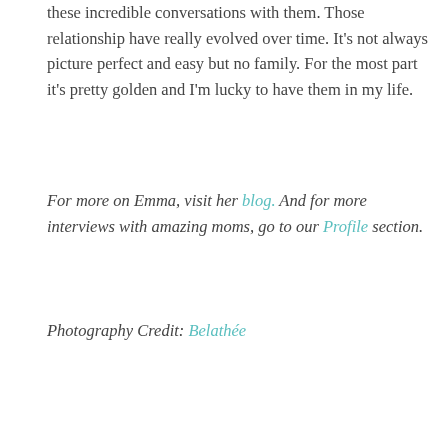these incredible conversations with them. Those relationship have really evolved over time. It's not always picture perfect and easy but no family. For the most part it's pretty golden and I'm lucky to have them in my life.
For more on Emma, visit her blog. And for more interviews with amazing moms, go to our Profile section.
Photography Credit: Belathée